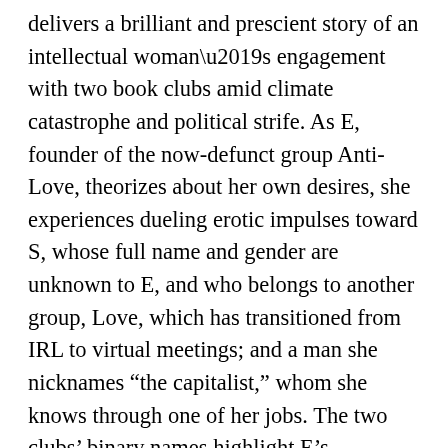delivers a brilliant and prescient story of an intellectual woman's engagement with two book clubs amid climate catastrophe and political strife. As E, founder of the now-defunct group Anti-Love, theorizes about her own desires, she experiences dueling erotic impulses toward S, whose full name and gender are unknown to E, and who belongs to another group, Love, which has transitioned from IRL to virtual meetings; and a man she nicknames “the capitalist,” whom she knows through one of her jobs. The two clubs’ binary names highlight E’s ambivalence about love and partnerships; she reflects on the Love group’s choice of a text about Aristophanes’s view that each person spends their life searching for their other half. Meanwhile, news alerts [redacted] reme